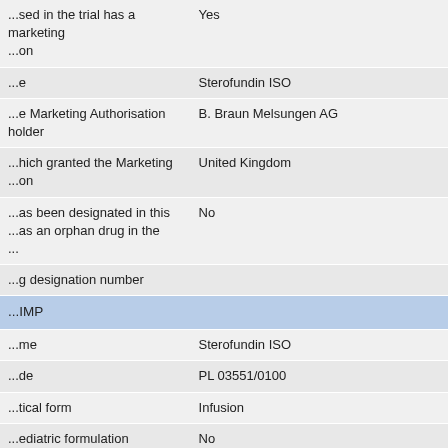| ...used in the trial has a marketing ... | Yes |
| ...e | Sterofundin ISO |
| ...e Marketing Authorisation holder | B. Braun Melsungen AG |
| ...hich granted the Marketing ... | United Kingdom |
| ...as been designated in this ...as an orphan drug in the ... | No |
| ...g designation number |  |
| ...IMP |  |
| ...me | Sterofundin ISO |
| ...de | PL 03551/0100 |
| ...tical form | Infusion |
| ...ediatric formulation | No |
| ...administration for this IMP | Intravascular use (Noncurrent) |
| ...ntification Details (Active Substances) |  |
| ...osed INN | Sodium |
| ...nce Code | AS1 |